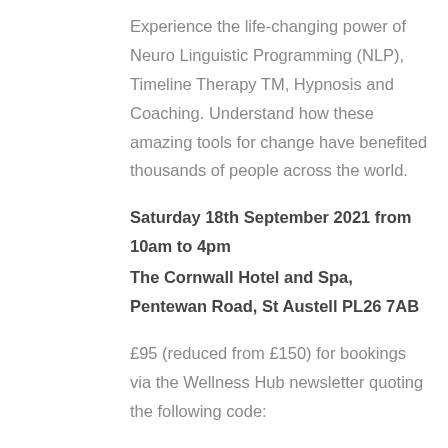Experience the life-changing power of Neuro Linguistic Programming (NLP), Timeline Therapy TM, Hypnosis and Coaching. Understand how these amazing tools for change have benefited thousands of people across the world.
Saturday 18th September 2021 from 10am to 4pm
The Cornwall Hotel and Spa, Pentewan Road, St Austell PL26 7AB
£95 (reduced from £150) for bookings via the Wellness Hub newsletter quoting the following code: